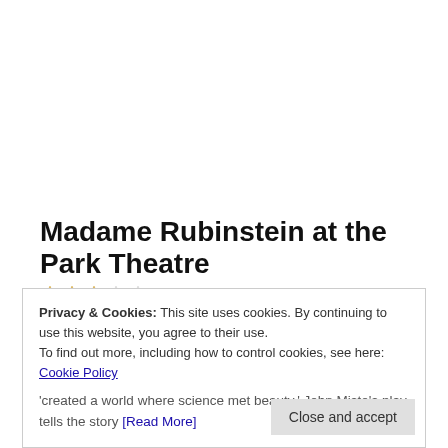Madame Rubinstein at the Park Theatre
[Figure (other): Star rating icons (3 out of 5 stars shown, gold/orange colored)]
Privacy & Cookies: This site uses cookies. By continuing to use this website, you agree to their use. To find out more, including how to control cookies, see here: Cookie Policy
'created a world where science met beauty.' John Misto's play tells the story [Read More]